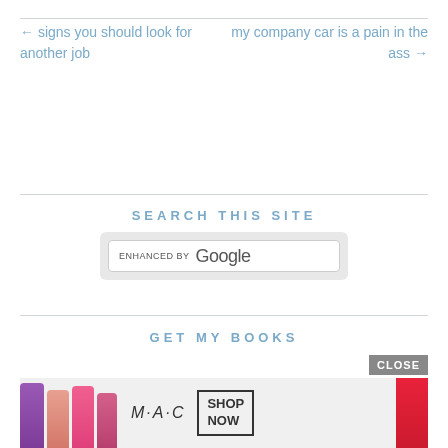← signs you should look for another job
my company car is a pain in the ass →
SEARCH THIS SITE
[Figure (screenshot): Google custom search box with 'ENHANCED BY Google' branding inside a light grey rounded container]
GET MY BOOKS
[Figure (photo): MAC cosmetics advertisement banner showing colorful lipsticks, MAC logo, SHOP NOW button, and a red lipstick on the right. A CLOSE button appears above.]